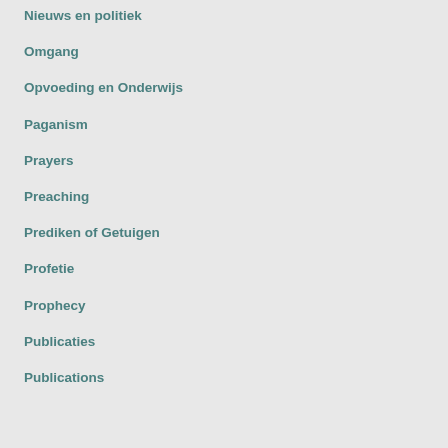Nieuws en politiek
Omgang
Opvoeding en Onderwijs
Paganism
Prayers
Preaching
Prediken of Getuigen
Profetie
Prophecy
Publicaties
Publications